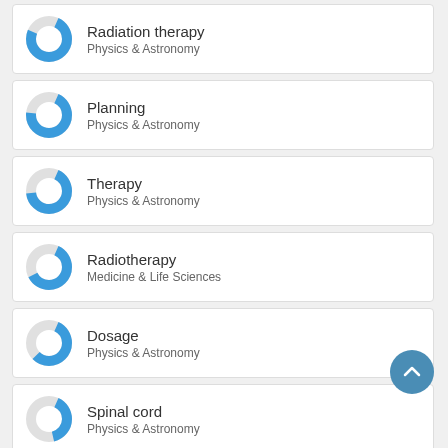Radiation therapy / Physics & Astronomy
Planning / Physics & Astronomy
Therapy / Physics & Astronomy
Radiotherapy / Medicine & Life Sciences
Dosage / Physics & Astronomy
Spinal cord / Physics & Astronomy
Tumors